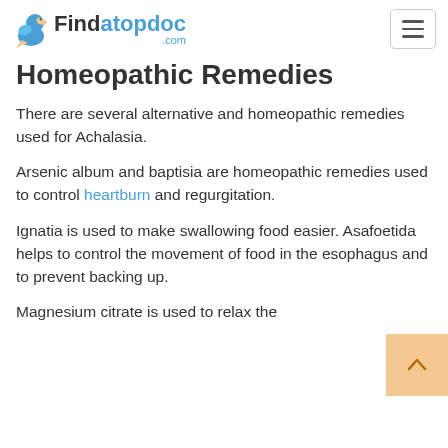Findatopdoc.com
Homeopathic Remedies
There are several alternative and homeopathic remedies used for Achalasia.
Arsenic album and baptisia are homeopathic remedies used to control heartburn and regurgitation.
Ignatia is used to make swallowing food easier. Asafoetida helps to control the movement of food in the esophagus and to prevent backing up.
Magnesium citrate is used to relax the